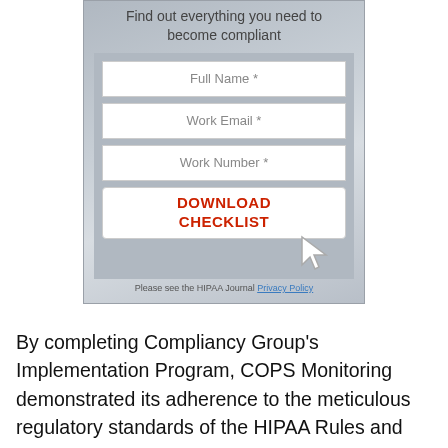[Figure (screenshot): A HIPAA compliance form widget with title 'Find out everything you need to become compliant', fields for Full Name, Work Email, Work Number, a Download Checklist button, a cursor arrow icon, and a privacy policy note.]
By completing Compliancy Group's Implementation Program, COPS Monitoring demonstrated its adherence to the meticulous regulatory standards of the HIPAA Rules and the HITECH Act and, through the